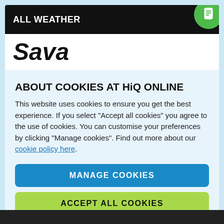ALL WEATHER
Sava
A New Generation All Season Tyre
ABOUT COOKIES AT HiQ ONLINE
This website uses cookies to ensure you get the best experience. If you select "Accept all cookies" you agree to the use of cookies. You can customise your preferences by clicking "Manage cookies". Find out more about our cookie policy here.
MANAGE COOKIES
ACCEPT ALL COOKIES